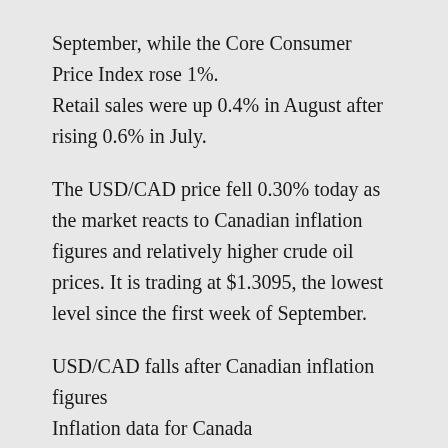September, while the Core Consumer Price Index rose 1%.
Retail sales were up 0.4% in August after rising 0.6% in July.
The USD/CAD price fell 0.30% today as the market reacts to Canadian inflation figures and relatively higher crude oil prices. It is trading at $1.3095, the lowest level since the first week of September.
USD/CAD falls after Canadian inflation figures
Inflation data for Canada